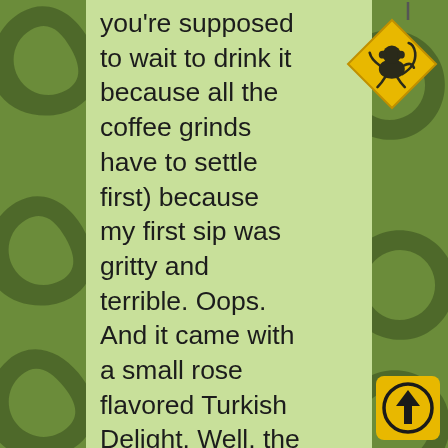[Figure (illustration): Green background with decorative dark olive/brown curvy monkey-tail or squiggle shapes repeated across left and right sides]
you're supposed to wait to drink it because all the coffee grinds have to settle first) because my first sip was gritty and terrible. Oops. And it came with a small rose flavored Turkish Delight. Well, the Greek version (Crete is still pretty irritated with their former Turkish colonizers so I can't see them calling it that). Some of you, my friends, will have heard
[Figure (illustration): Yellow diamond-shaped warning road sign with a dark monkey silhouette illustration, hanging from top right corner]
[Figure (illustration): Yellow square button with black circular arrow pointing upward, located at bottom right corner]